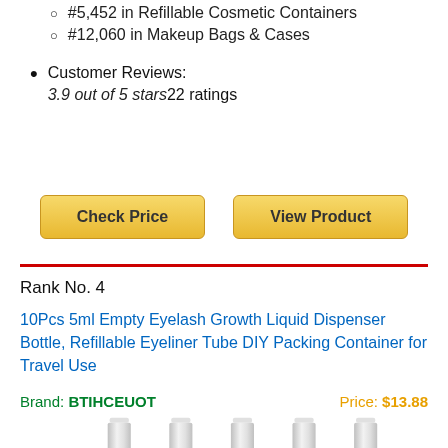#5,452 in Refillable Cosmetic Containers
#12,060 in Makeup Bags & Cases
Customer Reviews:
3.9 out of 5 stars22 ratings
Check Price   View Product
Rank No. 4
10Pcs 5ml Empty Eyelash Growth Liquid Dispenser Bottle, Refillable Eyeliner Tube DIY Packing Container for Travel Use
Brand: BTIHCEUOT    Price: $13.88
[Figure (photo): Five silver/white refillable cylindrical dispenser bottles arranged in a row]